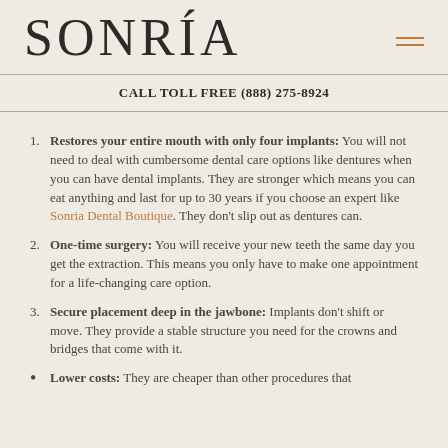SONRÍA
CALL TOLL FREE (888) 275-8924
Restores your entire mouth with only four implants: You will not need to deal with cumbersome dental care options like dentures when you can have dental implants. They are stronger which means you can eat anything and last for up to 30 years if you choose an expert like Sonria Dental Boutique. They don't slip out as dentures can.
One-time surgery: You will receive your new teeth the same day you get the extraction. This means you only have to make one appointment for a life-changing care option.
Secure placement deep in the jawbone: Implants don't shift or move. They provide a stable structure you need for the crowns and bridges that come with it.
Lower costs: They are cheaper than other procedures that